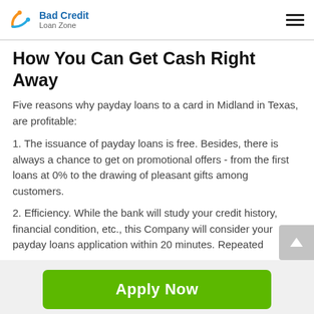Bad Credit Loan Zone
How You Can Get Cash Right Away
Five reasons why payday loans to a card in Midland in Texas, are profitable:
1. The issuance of payday loans is free. Besides, there is always a chance to get on promotional offers - from the first loans at 0% to the drawing of pleasant gifts among customers.
2. Efficiency. While the bank will study your credit history, financial condition, etc., this Company will consider your payday loans application within 20 minutes. Repeated
[Figure (other): Green Apply Now button]
Applying does NOT affect your credit score!
No credit check to apply.